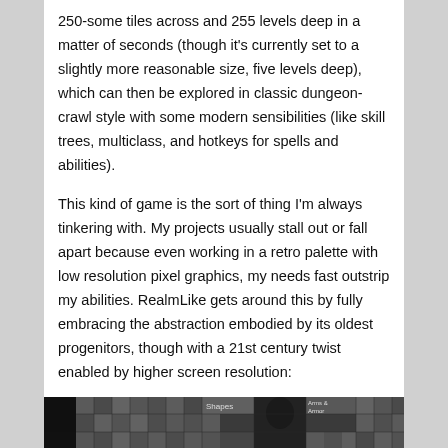250-some tiles across and 255 levels deep in a matter of seconds (though it's currently set to a slightly more reasonable size, five levels deep), which can then be explored in classic dungeon-crawl style with some modern sensibilities (like skill trees, multiclass, and hotkeys for spells and abilities).
This kind of game is the sort of thing I'm always tinkering with. My projects usually stall out or fall apart because even working in a retro palette with low resolution pixel graphics, my needs fast outstrip my abilities. RealmLike gets around this by fully embracing the abstraction embodied by its oldest progenitors, though with a 21st century twist enabled by higher screen resolution:
[Figure (screenshot): A pixel-art dungeon game screenshot showing a dark grid-based map with various shades of gray tiles, a black silhouette character shape in the center, and UI elements including 'Shapes' and 'Arms & Armor' labels.]